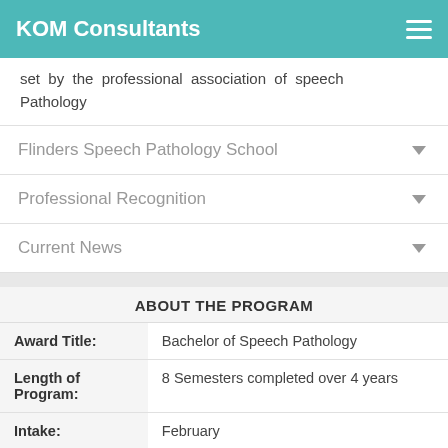KOM Consultants
set by the professional association of speech Pathology
Flinders Speech Pathology School
Professional Recognition
Current News
ABOUT THE PROGRAM
|  |  |
| --- | --- |
| Award Title: | Bachelor of Speech Pathology |
| Length of Program: | 8 Semesters completed over 4 years |
| Intake: | February |
| Prerequisites: | Completed high school diploma. |